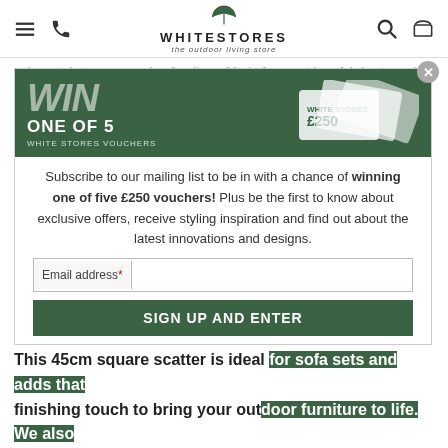WHITESTORES the outdoor living store
colour style to your garden furniture. Made from outdoor fabrics to resist against fading these zipped cushions are machine washable and can be left outside in poor weather. The filling is made from a high quality shower resistant fibre filling which allows water to pass through and means they will dry out completely within 30 mins of getting wet.
[Figure (screenshot): Popup overlay: WIN ONE OF 5 WHITE STORES VOUCHERS banner with voucher images. Subscribe to our mailing list to be in with a chance of winning one of five £250 vouchers! Plus be the first to know about exclusive offers, receive styling inspiration and find out about the latest innovations and designs. Email address field. SIGN UP AND ENTER button.]
Available in a range of sizes and styles including plains, stripes and designs we recommend a mix and match approach to styling your cushions — both large and small scatter complimenting each other on dining and sofa sets.
This 45cm square scatter is ideal for sofa sets and adds that finishing touch to bring your outdoor furniture to life. We also suggest coupling this scatter with a smaller 36cm scatter to add height variation for extra styling.